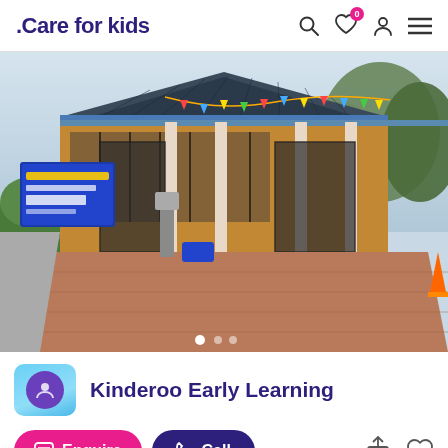Care for kids
[Figure (photo): Exterior photo of Kinderoo Early Learning Centre, a brick building with a dark tiled gabled roof, covered entry with iron fence/gates, decorative bunting, a blue sign with white text at the left, and a paved driveway/forecourt. Green hedges and trees in background.]
Kinderoo Early Learning
Enquire
Call